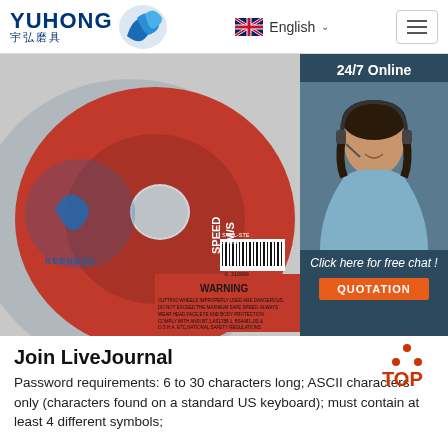YUHONG 宇弘磨具 | English
[Figure (photo): Red and grey cutting/grinding disc (KEENDEE brand) showing SPEED 80M/S and WARNING label with safety text, overlaid with a 24/7 Online chat widget showing a customer service representative and QUOTATION button]
Join LiveJournal
Password requirements: 6 to 30 characters long; ASCII characters only (characters found on a standard US keyboard); must contain at least 4 different symbols;